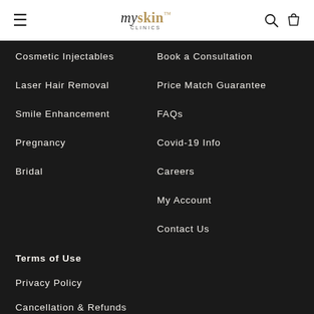myskin CLINICS
Cosmetic Injectables
Book a Consultation
Laser Hair Removal
Price Match Guarantee
Smile Enhancement
FAQs
Pregnancy
Covid-19 Info
Bridal
Careers
My Account
Contact Us
Terms of Use
Privacy Policy
Cancellation & Refunds